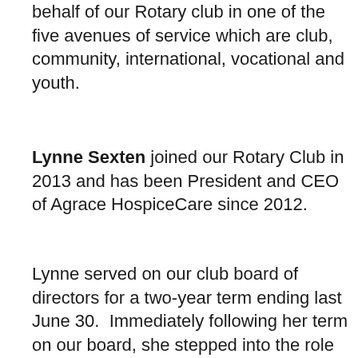behalf of our Rotary club in one of the five avenues of service which are club, community, international, vocational and youth.
Lynne Sexten joined our Rotary Club in 2013 and has been President and CEO of Agrace HospiceCare since 2012.
Lynne served on our club board of directors for a two-year term ending last June 30.  Immediately following her term on our board, she stepped into the role of chairing our Ad-hoc Governance Committee. She spent countless hours, pulling together materials and leading meetings for this group. I was part of the group and saw her leadership skills firsthand.  The end result of this group's meetings was the development of a succession plan for club president, creation of a conflicts of interest policy and disclosure of conflict forms and the creation of a